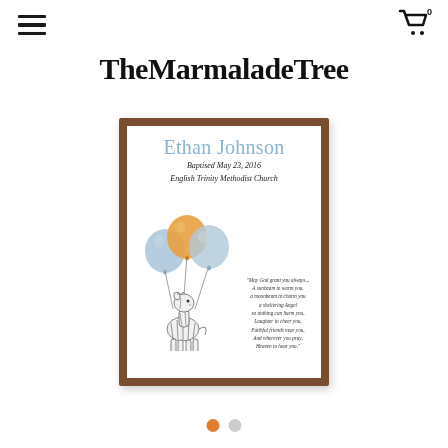TheMarmaladeTree
TheMarmaladeTree
[Figure (illustration): A framed baptism print featuring a baby zebra holding blue and orange balloons, with the name 'Ethan Johnson', date 'Baptised May 23, 2016', church 'English Trinity Methodist Church', and an Irish blessing quote, displayed in a brown wooden frame.]